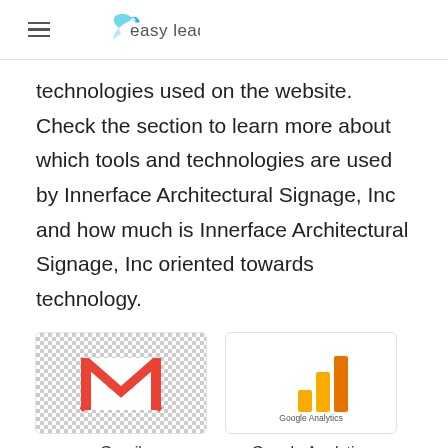easy leadz
technologies used on the website. Check the section to learn more about which tools and technologies are used by Innerface Architectural Signage, Inc and how much is Innerface Architectural Signage, Inc oriented towards technology.
[Figure (logo): Gmail logo - red M shape on white/checkered background]
Gmail
[Figure (logo): Google Analytics logo - orange/yellow bar chart icon with Google Analytics text]
Google Analytics
[Figure (logo): WordPress logo - partially visible at bottom]
[Figure (logo): Gray rectangle - partially visible at bottom right]